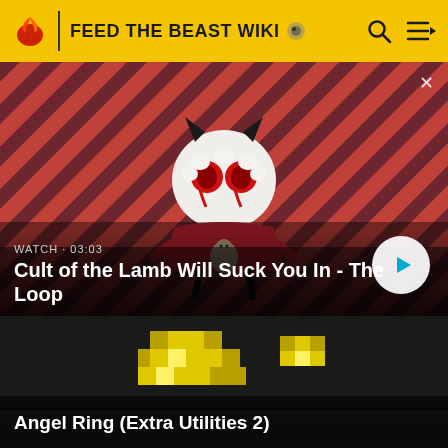FEED THE BEAST WIKI
[Figure (screenshot): Video thumbnail showing Cult of the Lamb character on a red diagonal striped background. Text overlay: WATCH • 03:03 and title Cult of the Lamb Will Suck You In - The Loop with a play button.]
[Figure (screenshot): Video thumbnail showing a dark Minecraft-style scene with yellow/gold items. Title overlay: Angel Ring (Extra Utilities 2)]